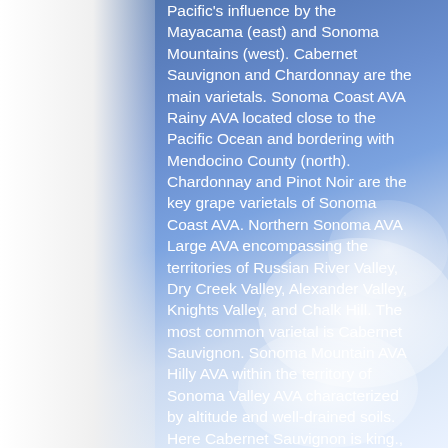Pacific's influence by the Mayacama (east) and Sonoma Mountains (west). Cabernet Sauvignon and Chardonnay are the main varietals. Sonoma Coast AVA Rainy AVA located close to the Pacific Ocean and bordering with Mendocino County (north). Chardonnay and Pinot Noir are the key grape varietals of Sonoma Coast AVA. Northern Sonoma AVA Large AVA encompassing the territories of Russian River Valley, Dry Creek Valley, Alexander Valley, Knights Valley, and Chalk Hill. The most common varietal is Cabernet Sauvignon. Sonoma Mountain AVA Hilly AVA within the territory of Sonoma Valley AVA characterized by altitude and well-drained soils. Here Cabernet Sauvignon is king.,